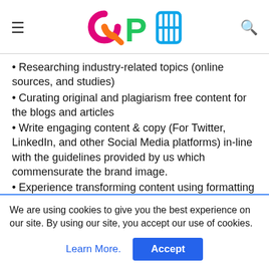QPH logo with hamburger menu and search icon
Researching industry-related topics (online sources, and studies)
Curating original and plagiarism free content for the blogs and articles
Write engaging content & copy (For Twitter, LinkedIn, and other Social Media platforms) in-line with the guidelines provided by us which commensurate the brand image.
Experience transforming content using formatting
We are using cookies to give you the best experience on our site. By using our site, you accept our use of cookies.